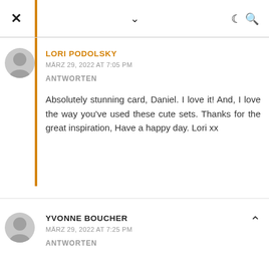× ∨ ☾ 🔍
LORI PODOLSKY
MÄRZ 29, 2022 AT 7:05 PM
ANTWORTEN
Absolutely stunning card, Daniel. I love it! And, I love the way you've used these cute sets. Thanks for the great inspiration, Have a happy day. Lori xx
YVONNE BOUCHER
MÄRZ 29, 2022 AT 7:25 PM
ANTWORTEN